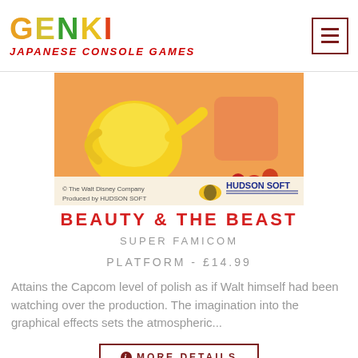GENKI JAPANESE CONSOLE GAMES
[Figure (photo): Beauty & The Beast Super Famicom game box art showing a yellow teapot and floral elements with Hudson Soft and Walt Disney Company branding]
BEAUTY & THE BEAST
SUPER FAMICOM
PLATFORM - £14.99
Attains the Capcom level of polish as if Walt himself had been watching over the production. The imagination into the graphical effects sets the atmospheric...
MORE DETAILS